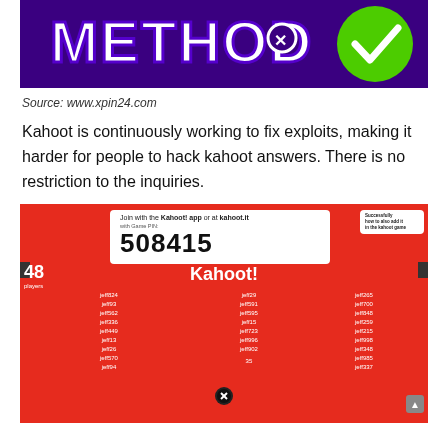[Figure (screenshot): Banner image showing the word METHOD in bold purple/white text with a green checkmark circle on a dark purple background]
Source: www.xpin24.com
Kahoot is continuously working to fix exploits, making it harder for people to hack kahoot answers. There is no restriction to the inquiries.
[Figure (screenshot): Kahoot game lobby screenshot showing game PIN 508415, 48 players joined with usernames like jeff824, jeff93, jeff562, jeff336, jeff449, jeff13, jeff26, jeff570, jeff94, jeff29, jeff591, jeff595, jeff15, jeff723, jeff996, jeff902, jeff265, jeff700, jeff848, jeff259, jeff215, jeff998, jeff348, jeff985, jeff337]